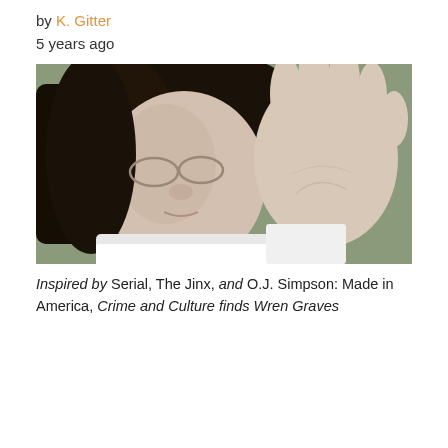by K. Gitter
5 years ago
[Figure (photo): Photo of Michael Jackson wearing glasses, waving his hand toward the camera, with dark hair and light skin, wearing a white shirt.]
Inspired by Serial, The Jinx, and O.J. Simpson: Made in America, Crime and Culture finds Wren Graves talking about...